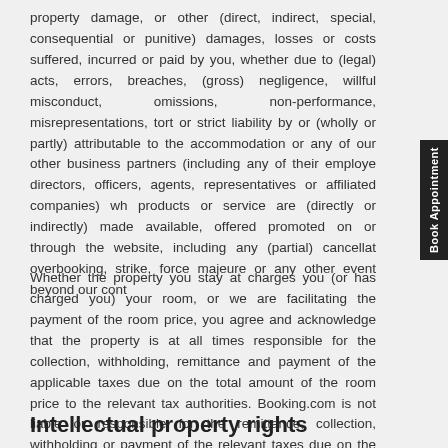property damage, or other (direct, indirect, special, consequential or punitive) damages, losses or costs suffered, incurred or paid by you, whether due to (legal) acts, errors, breaches, (gross) negligence, willful misconduct, omissions, non-performance, misrepresentations, tort or strict liability by or (wholly or partly) attributable to the accommodation or any of our other business partners (including any of their employees, directors, officers, agents, representatives or affiliated companies) whose products or service are (directly or indirectly) made available, offered or promoted on or through the website, including any (partial) cancellation, overbooking, strike, force majeure or any other event beyond our cont…
Whether the property you stay at charges you (or has charged you) for your room, or we are facilitating the payment of the room price, you agree and acknowledge that the property is at all times responsible for the collection, withholding, remittance and payment of the applicable taxes due on the total amount of the room price to the relevant tax authorities. Booking.com is not liable or responsible for the remittance, collection, withholding or payment of the relevant taxes due on the room price to the relevant tax authorities.
Intellectual property rights